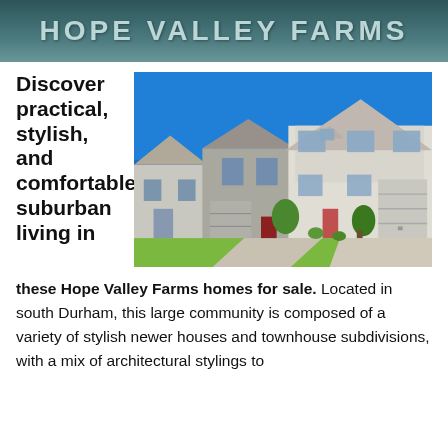HOPE VALLEY FARMS
Discover practical, stylish, and comfortable suburban living in these Hope Valley Farms homes for sale. Located in south Durham, this large community is composed of a variety of stylish newer houses and townhouse subdivisions, with a mix of architectural stylings to
[Figure (photo): Row of suburban two-story homes with white and beige siding, attached garages, green lawns, under a bright blue sky]